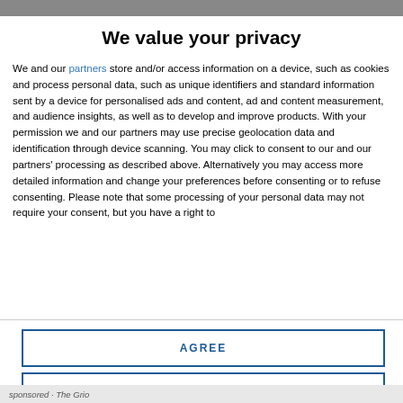We value your privacy
We and our partners store and/or access information on a device, such as cookies and process personal data, such as unique identifiers and standard information sent by a device for personalised ads and content, ad and content measurement, and audience insights, as well as to develop and improve products. With your permission we and our partners may use precise geolocation data and identification through device scanning. You may click to consent to our and our partners' processing as described above. Alternatively you may access more detailed information and change your preferences before consenting or to refuse consenting. Please note that some processing of your personal data may not require your consent, but you have a right to
AGREE
MORE OPTIONS
sponsored · The Grio